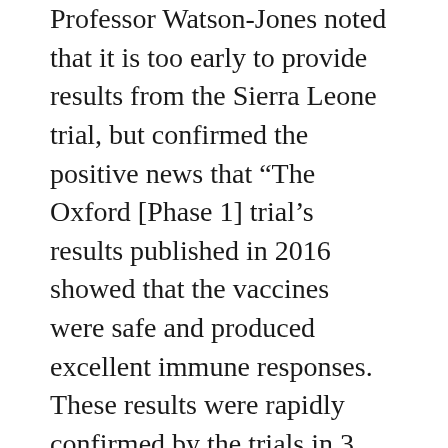Professor Watson-Jones noted that it is too early to provide results from the Sierra Leone trial, but confirmed the positive news that "The Oxford [Phase 1] trial's results published in 2016 showed that the vaccines were safe and produced excellent immune responses. These results were rapidly confirmed by the trials in 3 countries in East Africa".
Discussing the conference theme of the impact of EU research and innovation on daily lives, Professor Watson-Jones described the potential impact of effective Ebola vaccines on daily lives. Effective vaccines would help control an